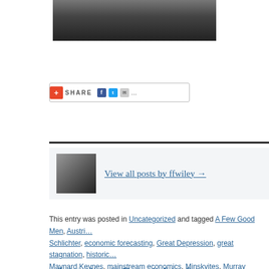[Figure (photo): Partial photo of a man in a suit at a microphone, cropped to show lower face/tie area]
[Figure (infographic): Share button bar with plus icon, SHARE text, Facebook, Twitter, email and more icons]
[Figure (photo): Author avatar thumbnail — small black and white photo of person]
View all posts by ffwiley →
This entry was posted in Uncategorized and tagged A Few Good Men, Austria... Schlichter, economic forecasting, Great Depression, great stagnation, historic... Maynard Keynes, mainstream economics, Minskyites, Murray Rothbard, Paul... savings rates, private debt, The Economist. Bookmark the permalink.
← Technical Notes for 'Planning for Future Rate Hikes…'    Technical Note...
Copyright 2022. All rights reserved.